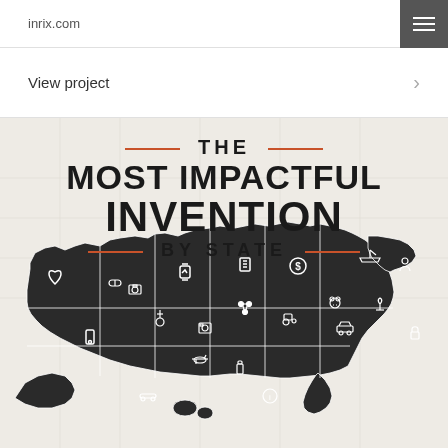inrix.com
View project
[Figure (infographic): Infographic showing a dark silhouette map of the United States with icons representing the most impactful invention by state. Title reads: THE MOST IMPACTFUL INVENTION BY STATE. The map has various technology and innovation icons placed on each state region.]